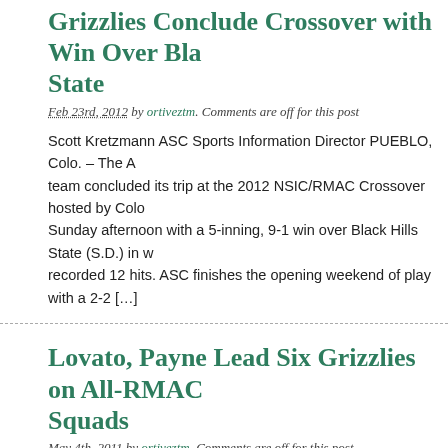Grizzlies Conclude Crossover with Win Over Black Hills State
Feb 23rd, 2012 by ortiveztm. Comments are off for this post
Scott Kretzmann ASC Sports Information Director PUEBLO, Colo. – The Adams State team concluded its trip at the 2012 NSIC/RMAC Crossover hosted by Colorado State-Pueblo Sunday afternoon with a 5-inning, 9-1 win over Black Hills State (S.D.) in w... recorded 12 hits. ASC finishes the opening weekend of play with a 2-2 […]
Lovato, Payne Lead Six Grizzlies on All-RMAC Squads
May 4th, 2011 by ortiveztm. Comments are off for this post
Eric R. Flores The Paw Print Adams State College sophomore centerfielder continues to make history for the Grizzlies as she was named as the 2011 Athletic Conference Player of the Year. The selection was announced Tuesday by officials who conducted a vote of the league's 12 head coaches. Redshift f...
Grizzly Softball Earns Sixth Seed in RMAC Tournament
May 4th, 2011 by ortiveztm. Comments are off for this post